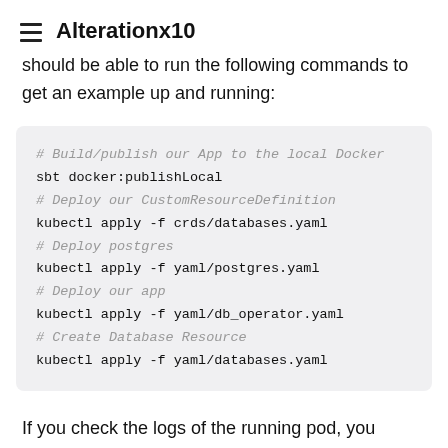Alterationx10
should be able to run the following commands to get an example up and running:
# Build/publish our App to the local Docker
sbt docker:publishLocal
# Deploy our CustomResourceDefinition
kubectl apply -f crds/databases.yaml
# Deploy postgres
kubectl apply -f yaml/postgres.yaml
# Deploy our app
kubectl apply -f yaml/db_operator.yaml
# Create Database Resource
kubectl apply -f yaml/databases.yaml
If you check the logs of the running pod, you should hopefully see the SQL successfully run, and